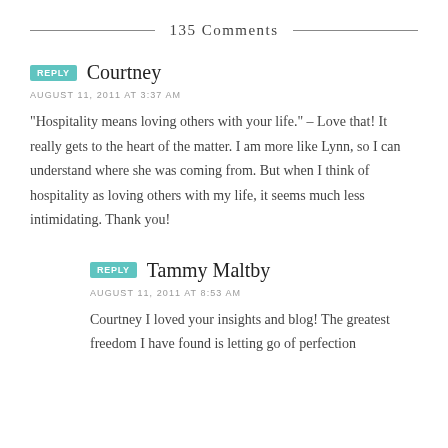135 Comments
REPLY  Courtney
AUGUST 11, 2011 AT 3:37 AM
“Hospitality means loving others with your life.” – Love that! It really gets to the heart of the matter. I am more like Lynn, so I can understand where she was coming from. But when I think of hospitality as loving others with my life, it seems much less intimidating. Thank you!
REPLY  Tammy Maltby
AUGUST 11, 2011 AT 8:53 AM
Courtney I loved your insights and blog! The greatest freedom I have found is letting go of perfection